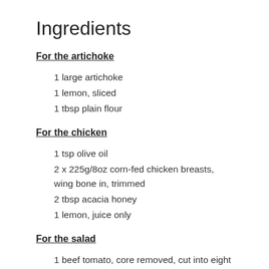Ingredients
For the artichoke
1 large artichoke
1 lemon, sliced
1 tbsp plain flour
For the chicken
1 tsp olive oil
2 x 225g/8oz corn-fed chicken breasts, wing bone in, trimmed
2 tbsp acacia honey
1 lemon, juice only
For the salad
1 beef tomato, core removed, cut into eight